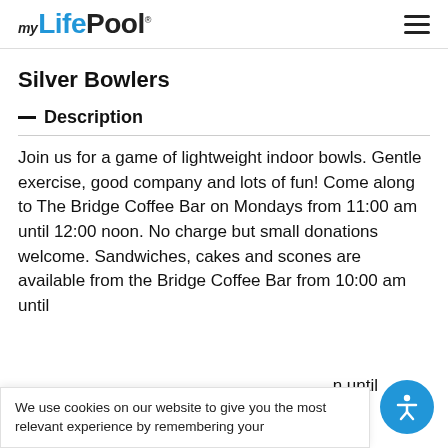myLifePool
Silver Bowlers
— Description
Join us for a game of lightweight indoor bowls. Gentle exercise, good company and lots of fun! Come along to The Bridge Coffee Bar on Mondays from 11:00 am until 12:00 noon. No charge but small donations welcome. Sandwiches, cakes and scones are available from the Bridge Coffee Bar from 10:00 am until
We use cookies on our website to give you the most relevant experience by remembering your